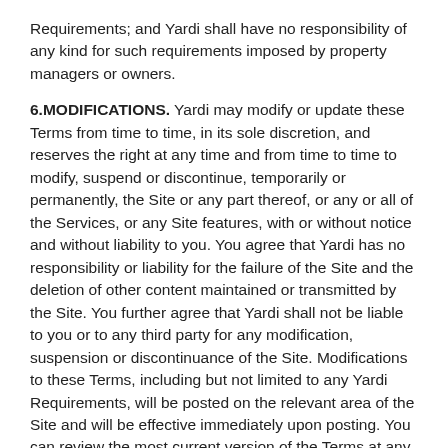Requirements; and Yardi shall have no responsibility of any kind for such requirements imposed by property managers or owners.
6.MODIFICATIONS. Yardi may modify or update these Terms from time to time, in its sole discretion, and reserves the right at any time and from time to time to modify, suspend or discontinue, temporarily or permanently, the Site or any part thereof, or any or all of the Services, or any Site features, with or without notice and without liability to you. You agree that Yardi has no responsibility or liability for the failure of the Site and the deletion of other content maintained or transmitted by the Site. You further agree that Yardi shall not be liable to you or to any third party for any modification, suspension or discontinuance of the Site. Modifications to these Terms, including but not limited to any Yardi Requirements, will be posted on the relevant area of the Site and will be effective immediately upon posting. You can review the most current version of the Terms at any time by clicking on the “Terms of Service” link located on webpages throughout the Site. You agree to review the Terms from time to time to ensure you are updated as to any modifications. By continuing to use the Site or Services